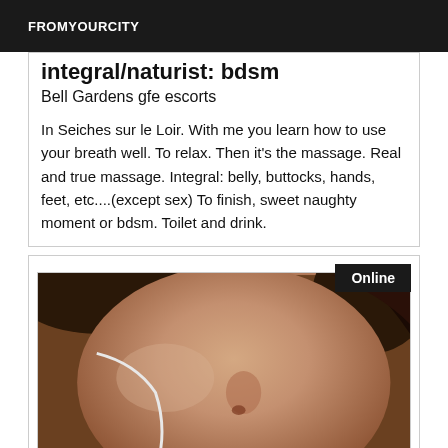FROMYOURCITY
integral/naturist: bdsm
Bell Gardens gfe escorts
In Seiches sur le Loir. With me you learn how to use your breath well. To relax. Then it's the massage. Real and true massage. Integral: belly, buttocks, hands, feet, etc....(except sex) To finish, sweet naughty moment or bdsm. Toilet and drink.
Online
[Figure (photo): Close-up photo of a person's face, slightly blurred, showing nose and cheek area with dark hair visible]